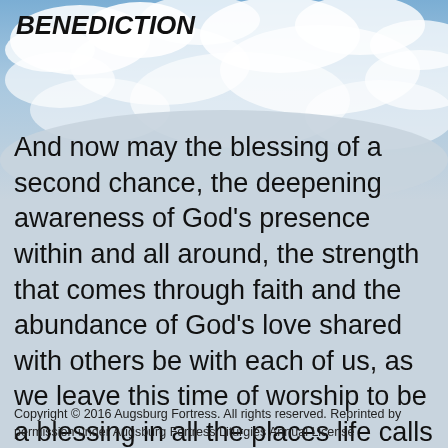[Figure (illustration): Sky with white clouds background image covering the upper portion of the page]
BENEDICTION
And now may the blessing of a second chance, the deepening awareness of God’s presence within and all around, the strength that comes through faith and the abundance of God’s love shared with others be with each of us, as we leave this time of worship to be a blessing in all the places life calls us to be.  Go in love, for you are loved.  Amen.
Copyright © 2016 Augsburg Fortress. All rights reserved. Reprinted by permission under Augsburg Fortress Liturgies Annual License